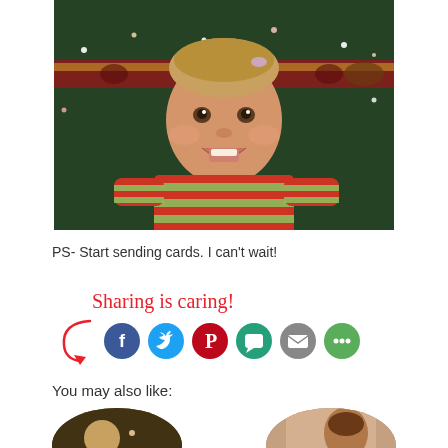[Figure (photo): Baby smiling in front of Christmas tree, wearing red and green striped outfit, with decorative ribbon in background]
PS- Start sending cards. I can’t wait!
[Figure (infographic): Sharing is caring! social sharing buttons: Facebook, Twitter, Pinterest, SMS, Email, and More sharing options with a decorative curl arrow]
You may also like:
[Figure (photo): Round thumbnail photo on left side - partial view]
[Figure (photo): Round thumbnail photo on right side - partial view of person]